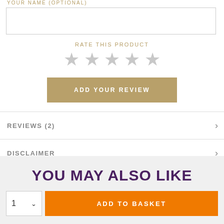YOUR NAME (OPTIONAL)
RATE THIS PRODUCT
[Figure (other): Five empty/grey star icons for rating]
ADD YOUR REVIEW
REVIEWS (2)
DISCLAIMER
YOU MAY ALSO LIKE
ADD TO BASKET